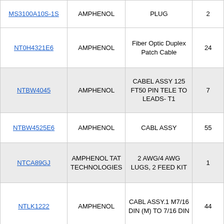| Part Number | Manufacturer | Description | Qty |
| --- | --- | --- | --- |
| MS3100A10S-1S | AMPHENOL | PLUG | 2 |
| NT0H4321E6 | AMPHENOL | Fiber Optic Duplex Patch Cable | 24 |
| NTBW4045 | AMPHENOL | CABEL ASSY 125 FT­50 PIN TELE TO LEADS- T1 | 7 |
| NTBW4525E6 | AMPHENOL | CABL ASSY | 55 |
| NTCA89GJ | AMPHENOL TAT TECHNOLOGIES | 2 AWG/4 AWG LUGS, 2 FEED KIT | 1 |
| NTLK1222 | AMPHENOL | CABL ASSY­.1 M7/16 DIN (M) TO 7/16 DIN | 44 |
|  | AMPHENOLSMALL | CABL ASSY­.1 M7/16 DIN |  |